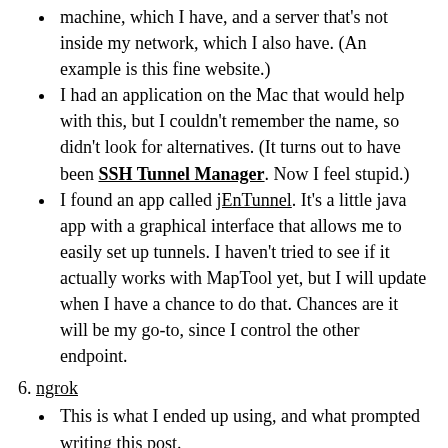machine, which I have, and a server that's not inside my network, which I also have. (An example is this fine website.)
I had an application on the Mac that would help with this, but I couldn't remember the name, so didn't look for alternatives. (It turns out to have been SSH Tunnel Manager. Now I feel stupid.)
I found an app called jEnTunnel. It's a little java app with a graphical interface that allows me to easily set up tunnels. I haven't tried to see if it actually works with MapTool yet, but I will update when I have a chance to do that. Chances are it will be my go-to, since I control the other endpoint.
ngrok
This is what I ended up using, and what prompted writing this post.
ngrok is a tiny little command-line tool that lets me forward a port very simply.
In fact, it allows the creation of config files that give a